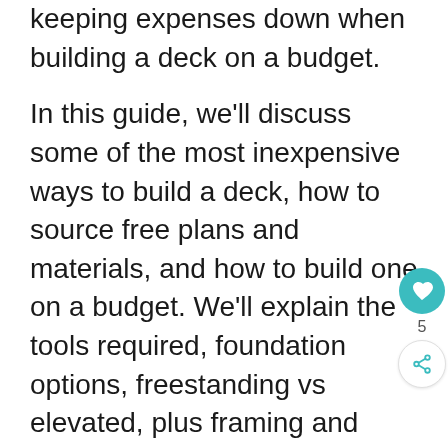keeping expenses down when building a deck on a budget.
In this guide, we'll discuss some of the most inexpensive ways to build a deck, how to source free plans and materials, and how to build one on a budget. We'll explain the tools required, foundation options, freestanding vs elevated, plus framing and decking suggestions. We'll even break down the costs of building a 10×10 deck. Our goal is to provide you with the information necessary to build an affordable quality deck.